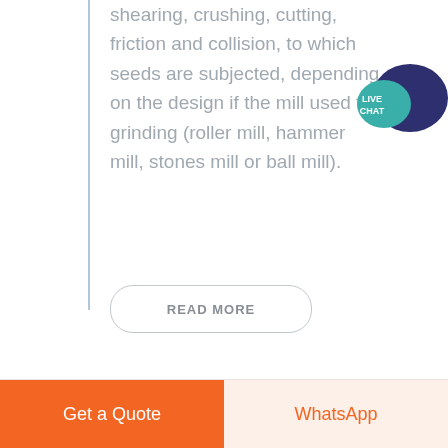shearing, crushing, cutting, friction and collision, to which seeds are subjected, depending on the design if the mill used for grinding (roller mill, hammer mill, stones mill or ball mill).
[Figure (other): Live Chat speech bubble icon in teal and dark blue colors with text LIVE CHAT]
READ MORE
Get a Quote | WhatsApp